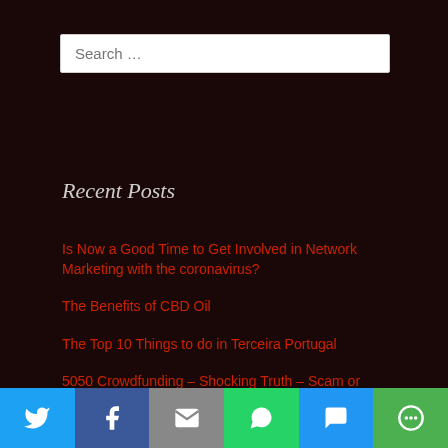Search ...
Recent Posts
Is Now a Good Time to Get Involved in Network Marketing with the coronavirus?
The Benefits of CBD Oil
The Top 10 Things to do in Terceira Portugal
5050 Crowdfunding – Shocking Truth – Scam or Legit?
A Glo... A Great Life – Shocking...
[Figure (infographic): Social sharing bar with Twitter, Facebook, Email, WhatsApp, SMS, and More icons]